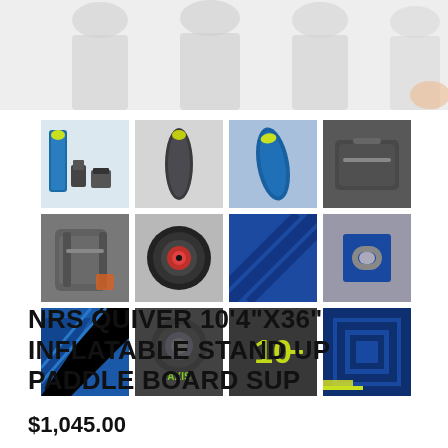[Figure (photo): Blurred top banner photo showing people or products in the background]
[Figure (photo): Grid of 12 product thumbnail images showing NRS Quiver inflatable stand up paddle board SUP from multiple angles, details, and accessories]
NRS QUIVER 10'4"X36" INFLATABLE STAND UP PADDLE BOARD SUP
$1,045.00